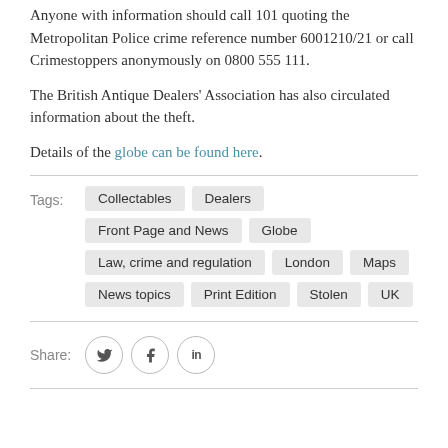Anyone with information should call 101 quoting the Metropolitan Police crime reference number 6001210/21 or call Crimestoppers anonymously on 0800 555 111.
The British Antique Dealers' Association has also circulated information about the theft.
Details of the globe can be found here.
Tags: Collectables  Dealers  Front Page and News  Globe  Law, crime and regulation  London  Maps  News topics  Print Edition  Stolen  UK
Share: